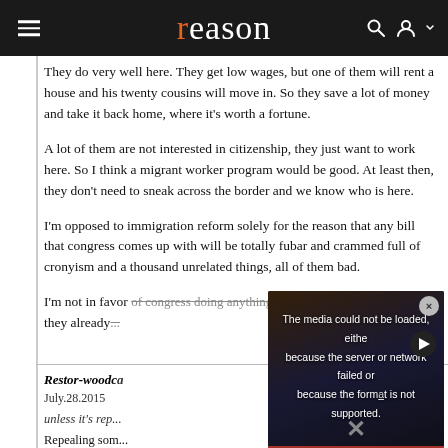reason
They do very well here. They get low wages, but one of them will rent a house and his twenty cousins will move in. So they save a lot of money and take it back home, where it's worth a fortune.
A lot of them are not interested in citizenship, they just want to work here. So I think a migrant worker program would be good. At least then, they don't need to sneak across the border and we know who is here.
I'm opposed to immigration reform solely for the reason that any bill that congress comes up with will be totally fubar and crammed full of cronyism and a thousand unrelated things, all of them bad.
I'm not in favor of congress doing anything unless it's repealing shit that they already...
Restor-woodcraft
July.28.2015
unless it's rep...
Repealing som... into question...
[Figure (screenshot): Video overlay showing error message: 'The media could not be loaded, either because the server or network failed or because the format is not supported.' with a play button and close (X) button, overlaid on a background showing protest imagery.]